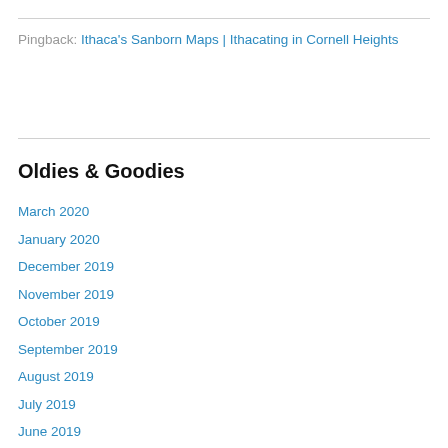Pingback: Ithaca's Sanborn Maps | Ithacating in Cornell Heights
Oldies & Goodies
March 2020
January 2020
December 2019
November 2019
October 2019
September 2019
August 2019
July 2019
June 2019
May 2019
April 2019
March 2019